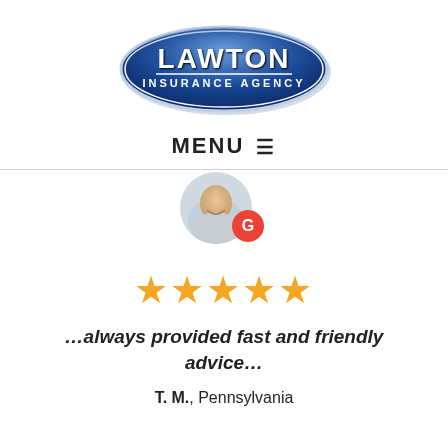[Figure (logo): Lawton Insurance Agency oval logo with blue gradient background and white text]
MENU ☰
[Figure (photo): Circular profile photo of a smiling man with a red Google 'G' badge overlay]
[Figure (infographic): Five gold star rating]
…always provided fast and friendly advice…
T. M., Pennsylvania